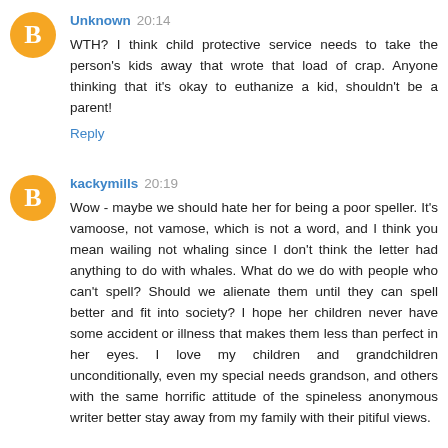Unknown 20:14
WTH? I think child protective service needs to take the person's kids away that wrote that load of crap. Anyone thinking that it's okay to euthanize a kid, shouldn't be a parent!
Reply
kackymills 20:19
Wow - maybe we should hate her for being a poor speller. It's vamoose, not vamose, which is not a word, and I think you mean wailing not whaling since I don't think the letter had anything to do with whales. What do we do with people who can't spell? Should we alienate them until they can spell better and fit into society? I hope her children never have some accident or illness that makes them less than perfect in her eyes. I love my children and grandchildren unconditionally, even my special needs grandson, and others with the same horrific attitude of the spineless anonymous writer better stay away from my family with their pitiful views.